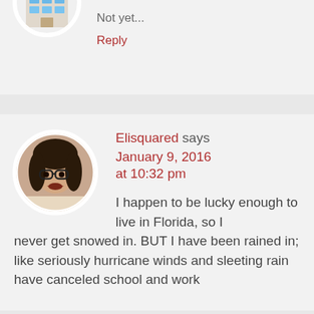[Figure (illustration): Circular avatar showing a cartoon/illustrated building with blue windows, partially cropped at top of page]
Not yet...
Reply
[Figure (photo): Circular avatar photo of a woman with dark hair and glasses, looking up slightly with mouth open]
Elisquared says January 9, 2016 at 10:32 pm
I happen to be lucky enough to live in Florida, so I never get snowed in. BUT I have been rained in; like seriously hurricane winds and sleeting rain have canceled school and work